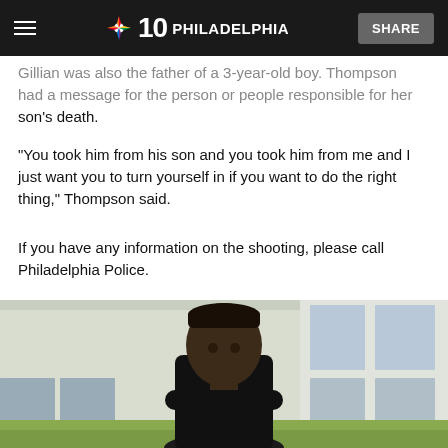NBC 10 Philadelphia | SHARE
Gillian was also the father of a 3-year-old boy. Thompson had a message for the person or people responsible for her son's death.
"You took him from his son and you took him from me and I just want you to turn yourself in if you want to do the right thing," Thompson said.
If you have any information on the shooting, please call Philadelphia Police.
[Figure (photo): Photo of a young Black male standing outdoors in front of a building with large windows, wearing a dark t-shirt, with grass in the foreground.]